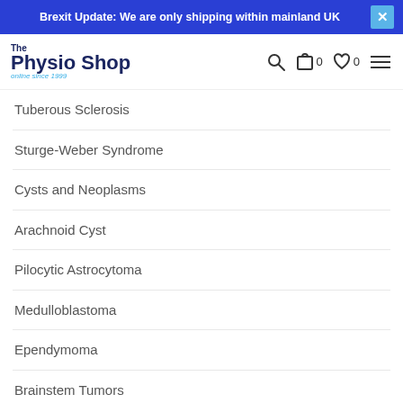Brexit Update: We are only shipping within mainland UK
The Physio Shop online since 1999
Tuberous Sclerosis
Sturge-Weber Syndrome
Cysts and Neoplasms
Arachnoid Cyst
Pilocytic Astrocytoma
Medulloblastoma
Ependymoma
Brainstem Tumors
Craniopharyngioma